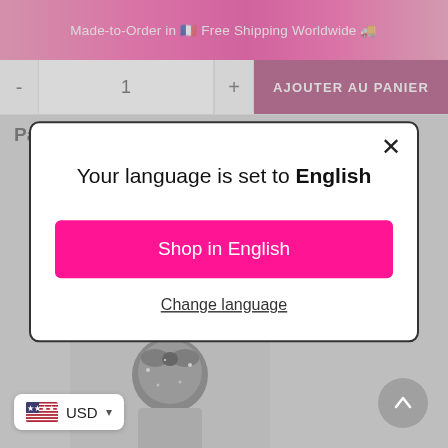Made-to-Order in 🇫🇷 Free Shipping Worldwide 🚚
- 1 + AJOUTER AU PANIER
Partager ce produit
[Figure (screenshot): Language selection modal dialog with title 'Your language is set to English', a pink 'Shop in English' button, and a 'Change language' underlined link. Close (X) button in top-right corner.]
[Figure (screenshot): USD currency selector badge (US flag) with dropdown arrow, and a circular scroll-up arrow button on the right.]